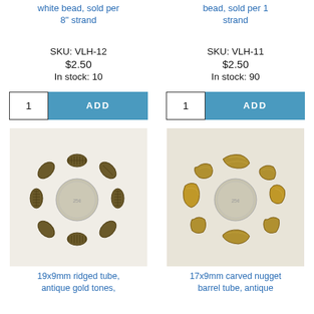white bead, sold per 8" strand
bead, sold per 1 strand
SKU: VLH-12
$2.50
In stock: 10
SKU: VLH-11
$2.50
In stock: 90
[Figure (photo): Photo of a bracelet made of ridged tube antique gold tone beads arranged in a circle with a coin for scale on a white background]
[Figure (photo): Photo of a bracelet made of carved nugget barrel tube antique gold tone beads arranged in a circle with a coin for scale on a white background]
19x9mm ridged tube, antique gold tones,
17x9mm carved nugget barrel tube, antique